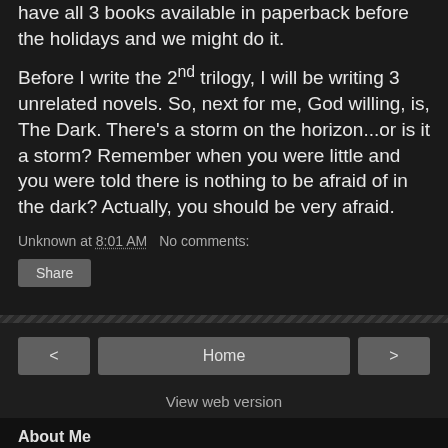have all 3 books available in paperback before the holidays and we might do it.
Before I write the 2nd trilogy, I will be writing 3 unrelated novels. So, next for me, God willing, is, The Dark. There's a storm on the horizon...or is it a storm? Remember when you were little and you were told there is nothing to be afraid of in the dark? Actually, you should be very afraid.
Unknown at 8:01 AM    No comments:
Share
Home
View web version
About Me
Unknown